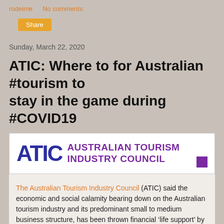rodeime   No comments:
Share
Sunday, March 22, 2020
ATIC: Where to for Australian #tourism to stay in the game during #COVID19
[Figure (logo): Australian Tourism Industry Council (ATIC) logo with large blue ATIC text and purple 'AUSTRALIAN TOURISM INDUSTRY COUNCIL' text and purple square]
The Australian Tourism Industry Council (ATIC) said the economic and social calamity bearing down on the Australian tourism industry and its predominant small to medium business structure, has been thrown financial ‘life support’ by the Morrison Government’ trying to counter COVID-19 impacts.